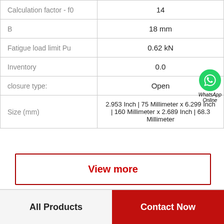| Parameter | Value |
| --- | --- |
| Calculation factor - f0 | 14 |
| B | 18 mm |
| Fatigue load limit Pu | 0.62 kN |
| Inventory | 0.0 |
| closure type: | Open |
| Size (mm) | 2.953 Inch | 75 Millimeter x 6.299 Inch | 160 Millimeter x 2.689 Inch | 68.3 Millimeter |
View more
All Products | Contact Now